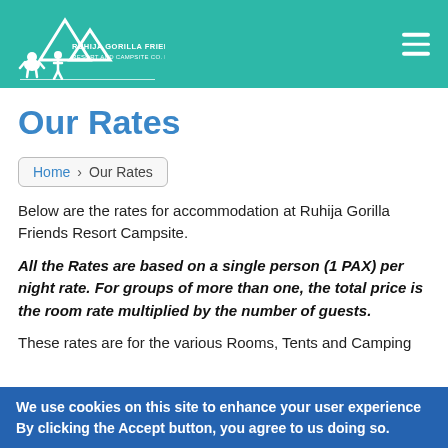Ruhija Gorilla Friends Resort and Campsite Co. Ltd
Our Rates
Home › Our Rates
Below are the rates for accommodation at Ruhija Gorilla Friends Resort Campsite.
All the Rates are based on a single person (1 PAX) per night rate. For groups of more than one, the total price is the room rate multiplied by the number of guests.
These rates are for the various Rooms, Tents and Camping
We use cookies on this site to enhance your user experience
By clicking the Accept button, you agree to us doing so.